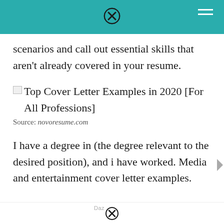[Figure (other): Teal navigation bar with close (X) icon centered and hamburger menu icon on the right]
scenarios and call out essential skills that aren't already covered in your resume.
[Figure (other): Broken image placeholder followed by text: Top Cover Letter Examples in 2020 [For All Professions]]
Source: novoresume.com
I have a degree in (the degree relevant to the desired position), and i have worked. Media and entertainment cover letter examples.
Daz